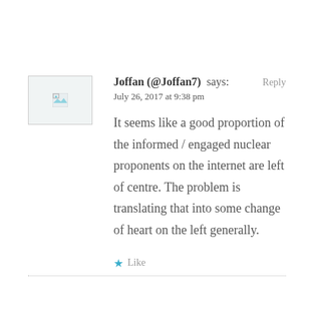[Figure (other): Avatar placeholder image box with broken image icon]
Joffan (@Joffan7) says:
July 26, 2017 at 9:38 pm
It seems like a good proportion of the informed / engaged nuclear proponents on the internet are left of centre. The problem is translating that into some change of heart on the left generally.
★ Like